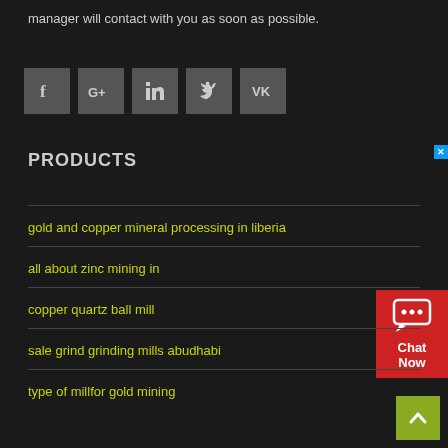manager will contact with you as soon as possible.
[Figure (illustration): Social media icon buttons: Facebook, Google+, LinkedIn, Twitter, VK — dark grey square buttons with white icons]
PRODUCTS
[Figure (other): Chat Now widget — red background with speech bubble icon and text 'Chat Now', with a blue close (X) button]
gold and copper mineral processing in liberia
all about zinc mining in
copper quartz ball mill
sale grind grinding mills abudhabi
type of millfor gold mining